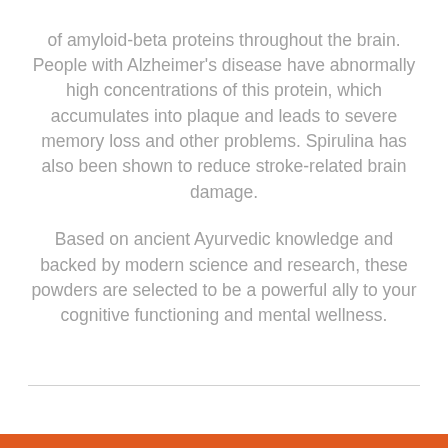of amyloid-beta proteins throughout the brain. People with Alzheimer's disease have abnormally high concentrations of this protein, which accumulates into plaque and leads to severe memory loss and other problems. Spirulina has also been shown to reduce stroke-related brain damage.

Based on ancient Ayurvedic knowledge and backed by modern science and research, these powders are selected to be a powerful ally to your cognitive functioning and mental wellness.